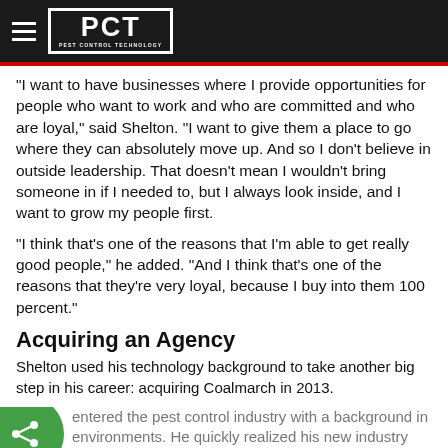PCT — Pest Control Technology
“I want to have businesses where I provide opportunities for people who want to work and who are committed and who are loyal,” said Shelton. “I want to give them a place to go where they can absolutely move up. And so I don’t believe in outside leadership. That doesn’t mean I wouldn’t bring someone in if I needed to, but I always look inside, and I want to grow my people first.
“I think that’s one of the reasons that I’m able to get really good people,” he added. “And I think that’s one of the reasons that they’re very loyal, because I buy into them 100 percent.”
Acquiring an Agency
Shelton used his technology background to take another big step in his career: acquiring Coalmarch in 2013.
entered the pest control industry with a background in environments. He quickly realized his new industry
Shelton started using search optimization to b… listings on Google. So Triangle was appointed…
This website makes use of cookies to enhance browsing experience and provide additional functionality. Details
Allow cookies